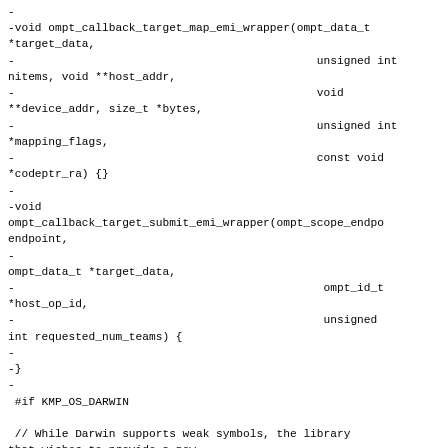-
-void ompt_callback_target_map_emi_wrapper(ompt_data_t *target_data,
-                                             unsigned int nitems, void **host_addr,
-                                             void **device_addr, size_t *bytes,
-                                             unsigned int *mapping_flags,
-                                             const void *codeptr_ra) {}
-
-void ompt_callback_target_submit_emi_wrapper(ompt_scope_endpoint_t endpoint,
-
ompt_data_t *target_data,
-                                              ompt_id_t *host_op_id,
-                                              unsigned int requested_num_teams) {
-
-}
-
 #if KMP_OS_DARWIN

 // While Darwin supports weak symbols, the library that wishes to provide a new
@@ -629,37 +578,7 @@ OMPT_API_ROUTINE ompt_set_result_t ompt_set_callback(ompt_callbacks_t which,